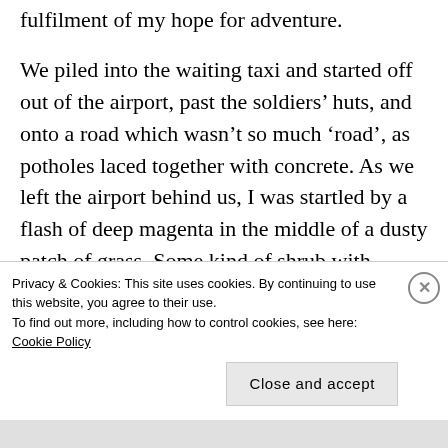fulfilment of my hope for adventure.
We piled into the waiting taxi and started off out of the airport, past the soldiers’ huts, and onto a road which wasn’t so much ‘road’, as potholes laced together with concrete. As we left the airport behind us, I was startled by a flash of deep magenta in the middle of a dusty patch of grass. Some kind of shrub with flaming red flowers held
Privacy & Cookies: This site uses cookies. By continuing to use this website, you agree to their use.
To find out more, including how to control cookies, see here: Cookie Policy
Close and accept